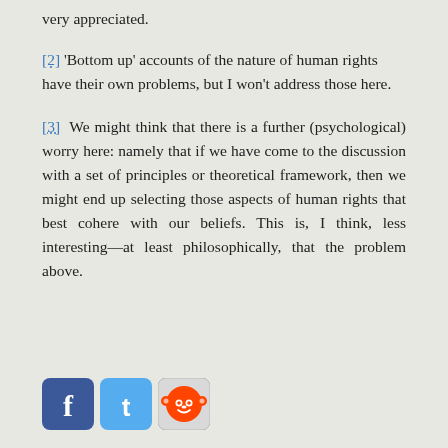very appreciated.
[2] 'Bottom up' accounts of the nature of human rights have their own problems, but I won't address those here.
[3] We might think that there is a further (psychological) worry here: namely that if we have come to the discussion with a set of principles or theoretical framework, then we might end up selecting those aspects of human rights that best cohere with our beliefs. This is, I think, less interesting—at least philosophically, that the problem above.
[Figure (other): Social media sharing icons: Facebook, Twitter, Reddit]